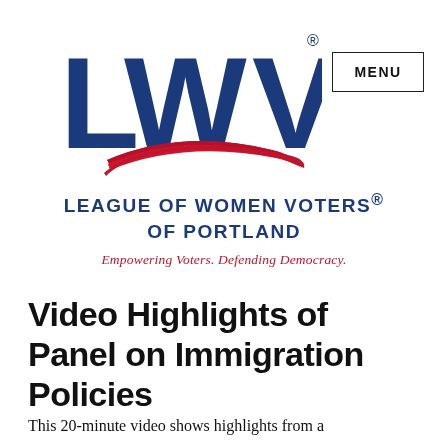[Figure (logo): LWV logo with large blue letters L, W, V and a red brushstroke swoosh underneath]
MENU
LEAGUE OF WOMEN VOTERS® OF PORTLAND
Empowering Voters. Defending Democracy.
Video Highlights of Panel on Immigration Policies
This 20-minute video shows highlights from a